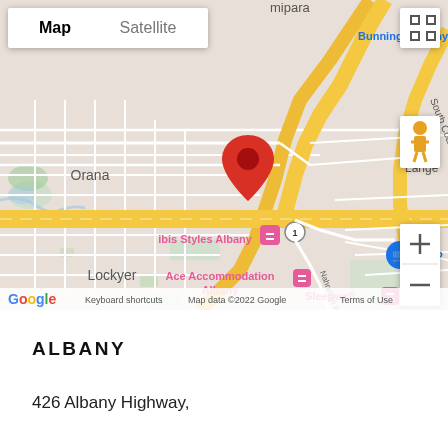[Figure (map): Google Maps screenshot showing Albany, Western Australia area. Map displays: Orana suburb (top left), South Coast Hwy (diagonal road top right), yellow highway roads, ibis Styles Albany hotel marker (pink), Ace Accommodation Albany marker (pink), Sleepwell marker (pink), Bunnings Albany label (blue, top right), Lockyer suburb label, red location pin in center, Google logo bottom left, zoom controls and pegman on right side.]
ALBANY
426 Albany Highway,